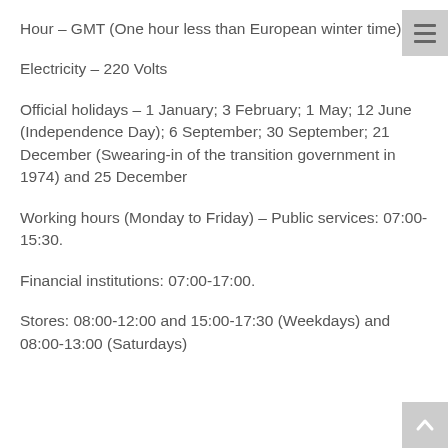Hour – GMT (One hour less than European winter time)
Electricity – 220 Volts
Official holidays – 1 January; 3 February; 1 May; 12 June (Independence Day); 6 September; 30 September; 21 December (Swearing-in of the transition government in 1974) and 25 December
Working hours (Monday to Friday) – Public services: 07:00-15:30.
Financial institutions: 07:00-17:00.
Stores: 08:00-12:00 and 15:00-17:30 (Weekdays) and 08:00-13:00 (Saturdays)